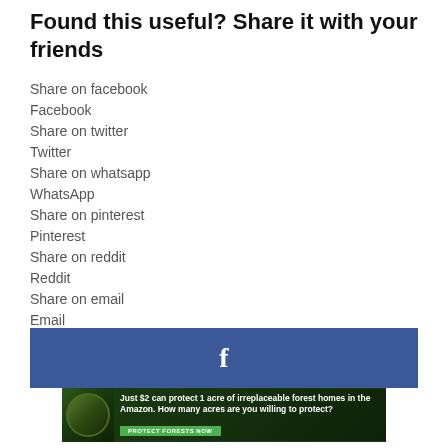Found this useful? Share it with your friends
Share on facebook
Facebook
Share on twitter
Twitter
Share on whatsapp
WhatsApp
Share on pinterest
Pinterest
Share on reddit
Reddit
Share on email
Email
[Figure (screenshot): Facebook share button bar with blue background and white Facebook 'f' logo]
[Figure (photo): Amazon forest conservation advertisement: sloth image with text 'Just $2 can protect 1 acre of irreplaceable forest homes in the Amazon. How many acres are you willing to protect?' and green 'PROTECT FORESTS NOW' button]